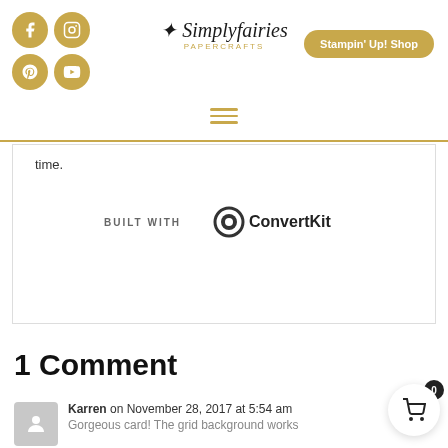Simplyfairies Papercrafts — Stampin' Up! Shop
time.
[Figure (logo): BUILT WITH ConvertKit logo]
1 Comment
Karren on November 28, 2017 at 5:54 am
Gorgeous card! The grid background works